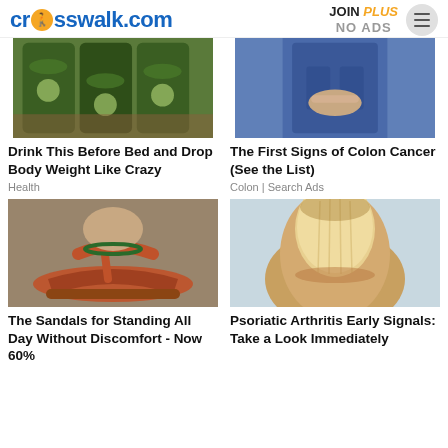crosswalk.com | JOIN PLUS NO ADS
[Figure (photo): Photo of water infused with cucumber and lemon slices in glass pitchers]
Drink This Before Bed and Drop Body Weight Like Crazy
Health
[Figure (photo): Photo of a person in jeans with hands clasped in front of abdomen]
The First Signs of Colon Cancer (See the List)
Colon | Search Ads
[Figure (photo): Photo of red sandals/flip-flops with ankle strap on a person's feet]
The Sandals for Standing All Day Without Discomfort - Now 60%
[Figure (photo): Close-up photo of a fingernail showing discoloration and ridges indicative of psoriatic arthritis]
Psoriatic Arthritis Early Signals: Take a Look Immediately